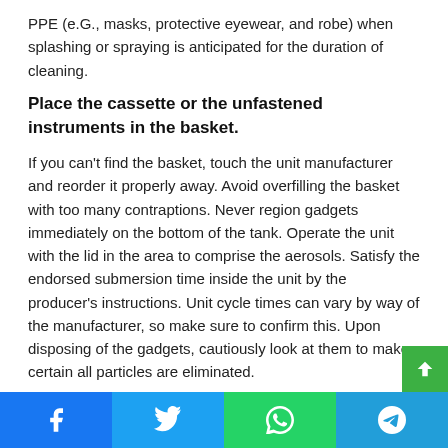PPE (e.G., masks, protective eyewear, and robe) when splashing or spraying is anticipated for the duration of cleaning.
Place the cassette or the unfastened instruments in the basket.
If you can't find the basket, touch the unit manufacturer and reorder it properly away. Avoid overfilling the basket with too many contraptions. Never region gadgets immediately on the bottom of the tank. Operate the unit with the lid in the area to comprise the aerosols. Satisfy the endorsed submersion time inside the unit by the producer's instructions. Unit cycle times can vary by way of the manufacturer, so make sure to confirm this. Upon disposing of the gadgets, cautiously look at them to make certain all particles are eliminated.
[Figure (infographic): Social media sharing bar at the bottom with Facebook, Twitter, WhatsApp, and Telegram icons, and a green scroll-to-top button.]